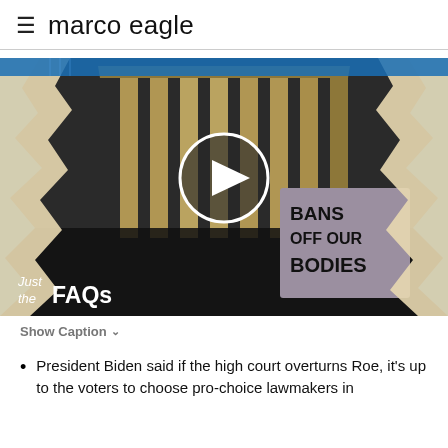marco eagle
[Figure (screenshot): Video thumbnail showing protest outside a government building (Supreme Court) at night. People hold signs including one reading 'BANS OFF OUR BODIES'. A play button circle overlay appears in the center. Bottom-left corner shows 'Just the FAQs' branding text. The image has a torn-paper blue and cream decorative border overlay.]
Show Caption
President Biden said if the high court overturns Roe, it's up to the voters to choose pro-choice lawmakers in